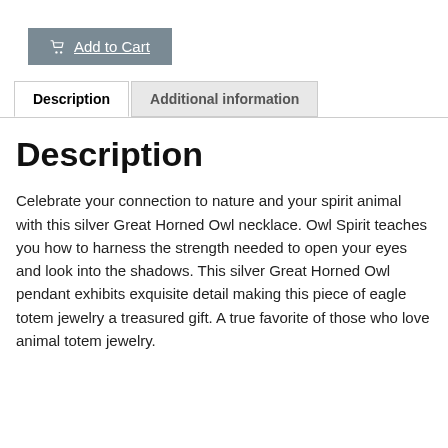[Figure (other): Add to Cart button with shopping cart icon, gray background, white text]
Description | Additional information (tabs)
Description
Celebrate your connection to nature and your spirit animal with this silver Great Horned Owl necklace. Owl Spirit teaches you how to harness the strength needed to open your eyes and look into the shadows. This silver Great Horned Owl pendant exhibits exquisite detail making this piece of eagle totem jewelry a treasured gift. A true favorite of those who love animal totem jewelry.